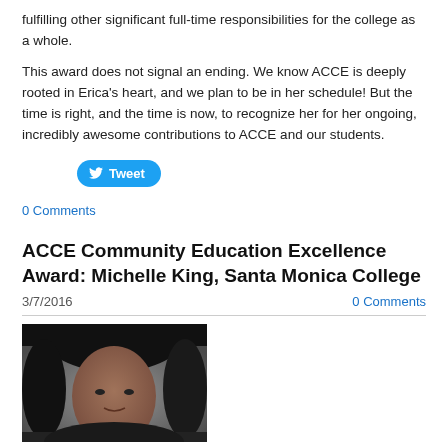fulfilling other significant full-time responsibilities for the college as a whole.
This award does not signal an ending. We know ACCE is deeply rooted in Erica's heart, and we plan to be in her schedule!  But the time is right, and the time is now, to recognize her for her ongoing, incredibly awesome contributions to ACCE and our students.
[Figure (other): Tweet button with Twitter bird icon]
0 Comments
ACCE Community Education Excellence Award: Michelle King, Santa Monica College
3/7/2016
0 Comments
[Figure (photo): Portrait photo of Michelle King, a woman with dark hair against a gray background]